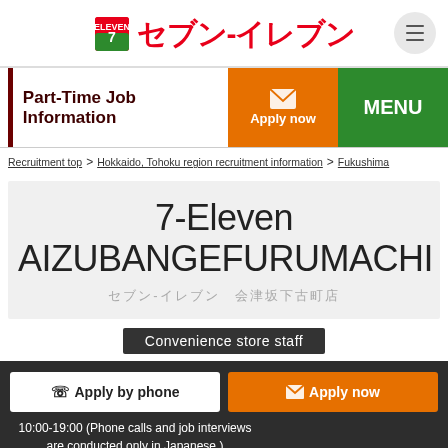[Figure (logo): 7-Eleven logo with Japanese text セブン-イレブン in red]
Part-Time Job Information
Recruitment top > Hokkaido, Tohoku region recruitment information > Fukushima
7-Eleven AIZUBANGEFURUMACHI
セブン-イレブン 会津坂下古町店
Convenience store staff
Apply by phone
Apply now
10:00-19:00 (Phone calls and job interviews are conducted only in Japanese.)